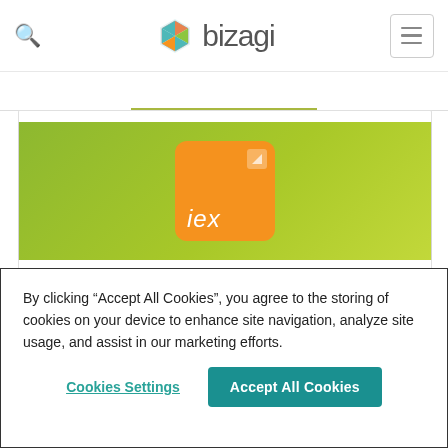bizagi (navigation header with search icon and menu button)
[Figure (logo): IEX Trading logo: orange rounded square with 'iex' text on olive/yellow-green banner background]
IEX Trading
By clicking “Accept All Cookies”, you agree to the storing of cookies on your device to enhance site navigation, analyze site usage, and assist in our marketing efforts.
Cookies Settings | Accept All Cookies